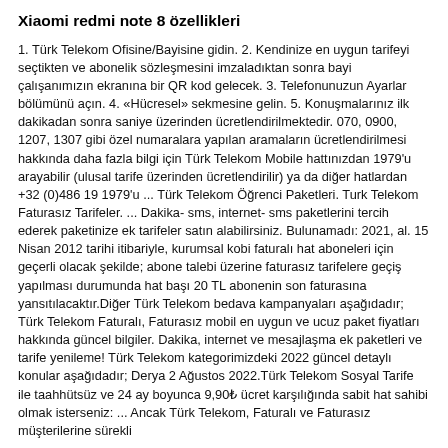Xiaomi redmi note 8 özellikleri
1. Türk Telekom Ofisine/Bayisine gidin. 2. Kendinize en uygun tarifeyi seçtikten ve abonelik sözleşmesini imzaladıktan sonra bayi çalışanımızın ekranına bir QR kod gelecek. 3. Telefonunuzun Ayarlar bölümünü açın. 4. «Hücresel» sekmesine gelin. 5. Konuşmalarınız ilk dakikadan sonra saniye üzerinden ücretlendirilmektedir. 070, 0900, 1207, 1307 gibi özel numaralara yapılan aramaların ücretlendirilmesi hakkında daha fazla bilgi için Türk Telekom Mobile hattınızdan 1979'u arayabilir (ulusal tarife üzerinden ücretlendirilir) ya da diğer hatlardan +32 (0)486 19 1979'u ... Türk Telekom Öğrenci Paketleri. Turk Telekom Faturasız Tarifeler. ... Dakika- sms, internet- sms paketlerini tercih ederek paketinize ek tarifeler satın alabilirsiniz. Bulunamadı: 2021, al. 15 Nisan 2012 tarihi itibariyle, kurumsal kobi faturalı hat aboneleri için geçerli olacak şekilde; abone talebi üzerine faturasız tarifelere geçiş yapılması durumunda hat başı 20 TL abonenin son faturasına yansıtılacaktır.Diğer Türk Telekom bedava kampanyaları aşağıdadır; Türk Telekom Faturalı, Faturasız mobil en uygun ve ucuz paket fiyatları hakkında güncel bilgiler. Dakika, internet ve mesajlaşma ek paketleri ve tarife yenileme! Türk Telekom kategorimizdeki 2022 güncel detaylı konular aşağıdadır; Derya 2 Ağustos 2022.Türk Telekom Sosyal Tarife ile taahhütsüz ve 24 ay boyunca 9,90₺ ücret karşılığında sabit hat sahibi olmak isterseniz: ... Ancak Türk Telekom, Faturalı ve Faturasız müşterilerine sürekli